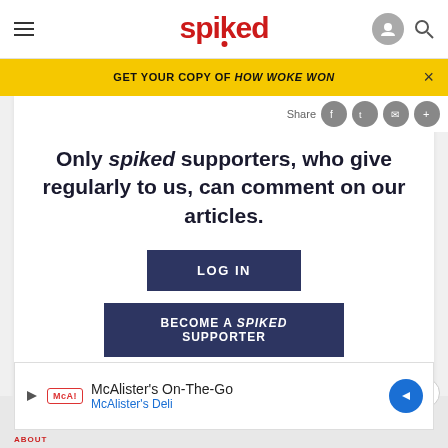spiked
GET YOUR COPY OF HOW WOKE WON
Only spiked supporters, who give regularly to us, can comment on our articles.
LOG IN
BECOME A SPIKED SUPPORTER
[Figure (screenshot): McAlister's On-The-Go advertisement banner with McAlister's Deli logo and navigation arrow icon]
ABOUT